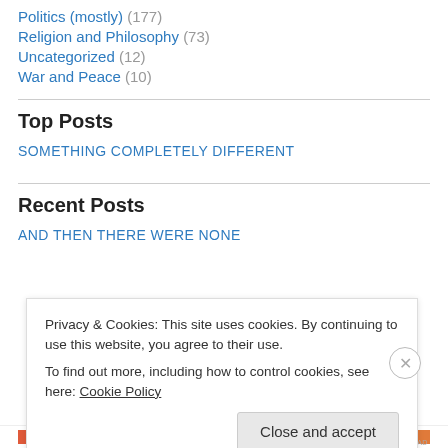Politics (mostly) (177)
Religion and Philosophy (73)
Uncategorized (12)
War and Peace (10)
Top Posts
SOMETHING COMPLETELY DIFFERENT
Recent Posts
AND THEN THERE WERE NONE
Privacy & Cookies: This site uses cookies. By continuing to use this website, you agree to their use.
To find out more, including how to control cookies, see here: Cookie Policy
Close and accept